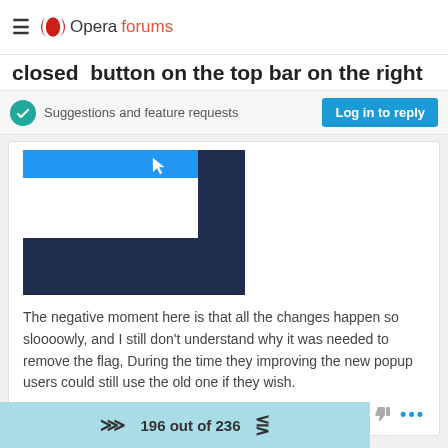Opera forums
closed button on the top bar on the right
Suggestions and feature requests
[Figure (screenshot): Screenshot of a browser UI showing a blue button and dark navy panel/popup area]
The negative moment here is that all the changes happen so sloooowly, and I still don't understand why it was needed to remove the flag. During the time they improving the new popup users could still use the old one if they wish.
196 out of 236